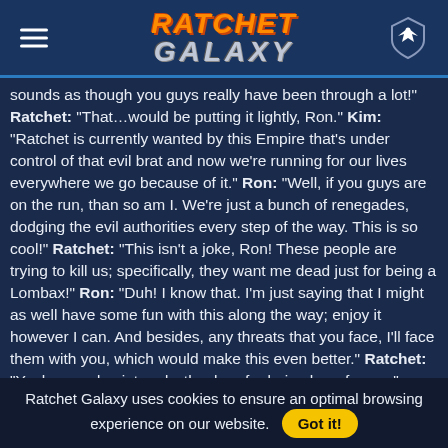Ratchet Galaxy
sounds as though you guys really have been through a lot!" Ratchet: "That…would be putting it lightly, Ron." Kim: "Ratchet is currently wanted by this Empire that's under control of that evil brat and now we're running for our lives everywhere we go because of it." Ron: "Well, if you guys are on the run, than so am I. We're just a bunch of renegades, dodging the evil authorities every step of the way. This is so cool!" Ratchet: "This isn't a joke, Ron! These people are trying to kill us; specifically, they want me dead just for being a Lombax!" Ron: "Duh! I know that. I'm just saying that I might as well have some fun with this along the way; enjoy it however I can. And besides, any threats that you face, I'll face them with you, which would make this even better." Ratchet: "Yeah…good point and…thanks…for being here for me."
Ron smiled at Ratchet, he smiled back. Ron: "So, we're really heading towards this arena to meet up with Qwark?" Kim:
Ratchet Galaxy uses cookies to ensure an optimal browsing experience on our website. Got it!